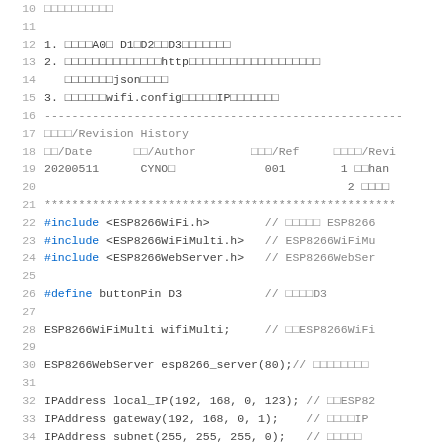Source code listing with revision history and ESP8266 WiFi/WebServer includes
1. 　　　A0　 D1　D2　　D3
2. 　　　　　　　　　　　　http　　　　　　　　　　　　　　　　　　json
3. 　　　　wifi.config　　　IP
--------------------------------------------
/Revision History
/Date     　　/Author      　　　/Ref     　　　　/Revi
20200511      CYNO　           001        1 　　han
2
***************************************************
#include <ESP8266WiFi.h>         // 　　　　　 ESP8266
#include <ESP8266WiFiMulti.h>    //  ESP8266WiFiMu
#include <ESP8266WebServer.h>    //  ESP8266WebSer
#define buttonPin D3             // 　　　　D3
ESP8266WiFiMulti wifiMulti;      // 　　ESP8266WiFi
ESP8266WebServer esp8266_server(80);//
IPAddress local_IP(192, 168, 0, 123); // 　　ESP82
IPAddress gateway(192, 168, 0, 1);    // 　　　IP
IPAddress subnet(255, 255, 255, 0);   //
IPAddress dns(192,168,0,1);           // 　　　　DN
void setup(){
Serial.begin(9600);                //